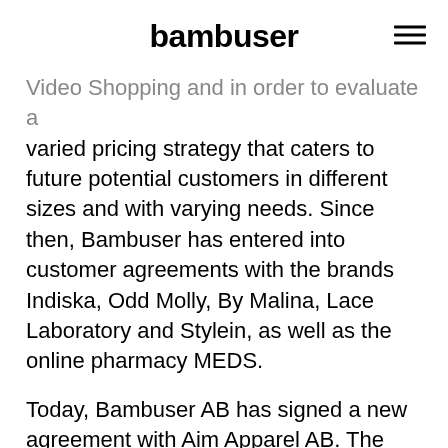bambuser
Video Shopping and in order to evaluate a varied pricing strategy that caters to future potential customers in different sizes and with varying needs. Since then, Bambuser has entered into customer agreements with the brands Indiska, Odd Molly, By Malina, Lace Laboratory and Stylein, as well as the online pharmacy MEDS.
Today, Bambuser AB has signed a new agreement with Aim Apparel AB. The agreement runs for six months and relates to a limited version of Live Video Shopping for retail. The agreement is based on a fixed monthly license fee, as well as a variable part depending on use. The variable part can not